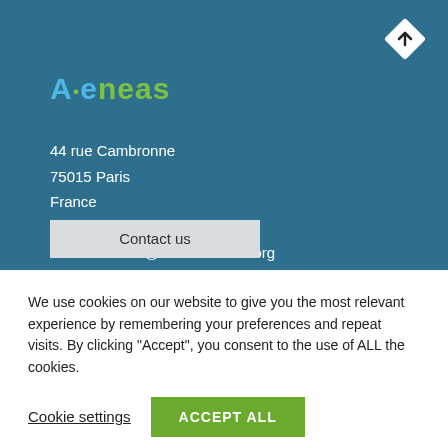[Figure (logo): Aeneas organization logo with stylized A and green dot, text in blue and green]
44 rue Cambronne
75015 Paris
France
Tel: +33 1 40 64 45 60
Email: contact@aeneas-office.org
Contact us
We use cookies on our website to give you the most relevant experience by remembering your preferences and repeat visits. By clicking “Accept”, you consent to the use of ALL the cookies.
Cookie settings
ACCEPT ALL